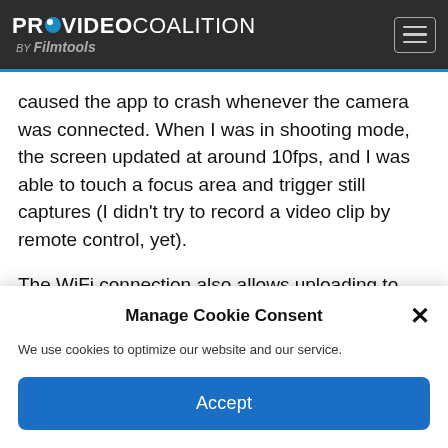PROVIDEO COALITION BY Filmtools
caused the app to crash whenever the camera was connected. When I was in shooting mode, the screen updated at around 10fps, and I was able to touch a focus area and trigger still captures (I didn't try to record a video clip by remote control, yet).
The WiFi connection also allows uploading to Panasonic's own cloud service (untested) or
Manage Cookie Consent
We use cookies to optimize our website and our service.
Accept